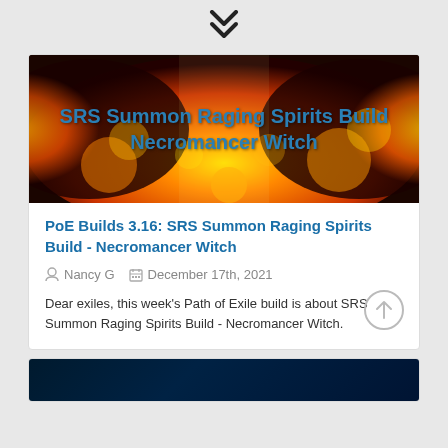[Figure (illustration): Double chevron down arrow icon in dark color on light gray background]
[Figure (photo): Header image showing a fantasy character (witch) surrounded by fire/flames with overlaid text 'SRS Summon Raging Spirits Build Necromancer Witch' in blue bold font]
PoE Builds 3.16: SRS Summon Raging Spirits Build - Necromancer Witch
Nancy G   December 17th, 2021
Dear exiles, this week’s Path of Exile build is about SRS Summon Raging Spirits Build - Necromancer Witch.
[Figure (photo): Partial view of another card/article image at the bottom, dark background with blue tones]